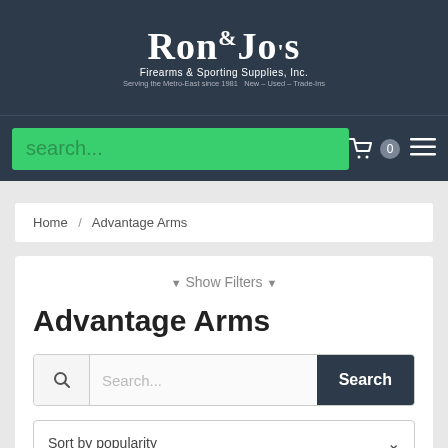[Figure (logo): Ron & Jo's Firearms & Sporting Supplies, Inc. logo in white text on dark navy background]
search... [search bar] 0 [cart] [menu]
Home / Advantage Arms
▼ Show Filters ▼
Advantage Arms
Search... Search
Sort by popularity
Out of Stock